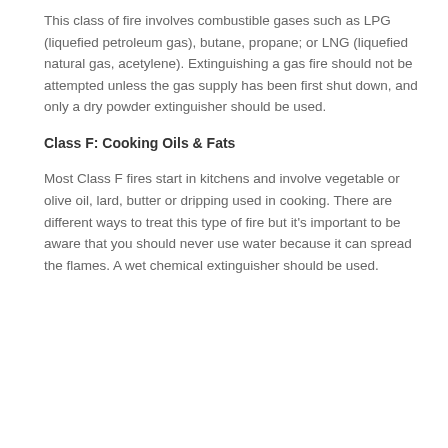This class of fire involves combustible gases such as LPG (liquefied petroleum gas), butane, propane; or LNG (liquefied natural gas, acetylene). Extinguishing a gas fire should not be attempted unless the gas supply has been first shut down, and only a dry powder extinguisher should be used.
Class F: Cooking Oils & Fats
Most Class F fires start in kitchens and involve vegetable or olive oil, lard, butter or dripping used in cooking. There are different ways to treat this type of fire but it's important to be aware that you should never use water because it can spread the flames. A wet chemical extinguisher should be used.